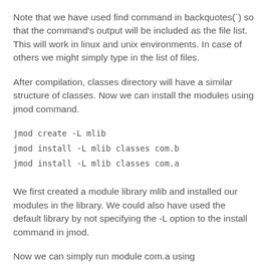Note that we have used find command in backquotes(`) so that the command's output will be included as the file list. This will work in linux and unix environments. In case of others we might simply type in the list of files.
After compilation, classes directory will have a similar structure of classes. Now we can install the modules using jmod command.
jmod create -L mlib
jmod install -L mlib classes com.b
jmod install -L mlib classes com.a
We first created a module library mlib and installed our modules in the library. We could also have used the default library by not specifying the -L option to the install command in jmod.
Now we can simply run module com.a using